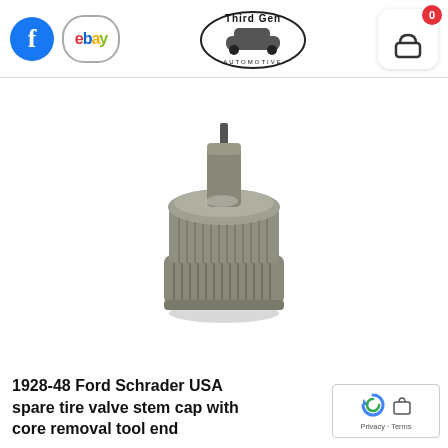Facebook | eBay | Third Gen Automotive | Cart (0)
[Figure (photo): A metal Schrader valve stem cap with core removal tool end, silver/gun-metal color, knurled cylindrical body with a stepped top section and slotted tip, photographed on white background]
1928-48 Ford Schrader USA spare tire valve stem cap with core removal tool end